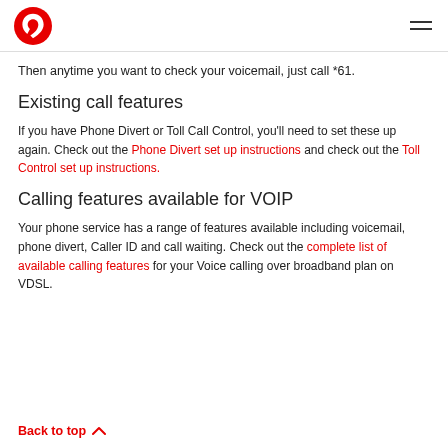Vodafone logo and navigation menu
Then anytime you want to check your voicemail, just call *61.
Existing call features
If you have Phone Divert or Toll Call Control, you'll need to set these up again. Check out the Phone Divert set up instructions and check out the Toll Control set up instructions.
Calling features available for VOIP
Your phone service has a range of features available including voicemail, phone divert, Caller ID and call waiting. Check out the complete list of available calling features for your Voice calling over broadband plan on VDSL.
Back to top